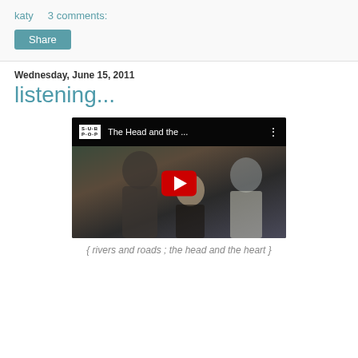katy   3 comments:
Share
Wednesday, June 15, 2011
listening...
[Figure (screenshot): YouTube video thumbnail showing three musicians performing, with Sub Pop logo and title 'The Head and the ...' in the top bar, and a red YouTube play button in the center.]
{ rivers and roads ; the head and the heart }